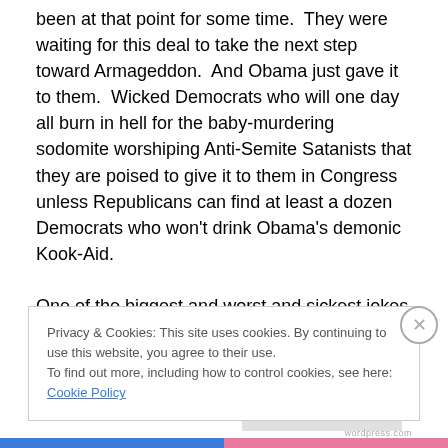been at that point for some time.  They were waiting for this deal to take the next step toward Armageddon.  And Obama just gave it to them.  Wicked Democrats who will one day all burn in hell for the baby-murdering sodomite worshiping Anti-Semite Satanists that they are poised to give it to them in Congress unless Republicans can find at least a dozen Democrats who won't drink Obama's demonic Kook-Aid.

One of the biggest and worst and sickest jokes of all is how Obama keeps dishonestly claiming that somehow
Privacy & Cookies: This site uses cookies. By continuing to use this website, you agree to their use.
To find out more, including how to control cookies, see here: Cookie Policy